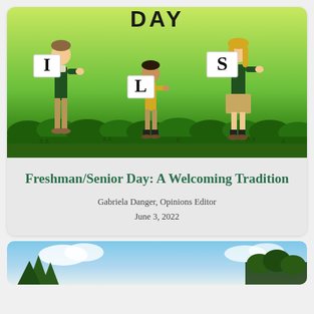[Figure (illustration): Illustration of three students standing on grass against a green background. Left student holds a sign with letter 'I', middle student holds 'L', right student holds 'S'. Text 'DAY' appears at the top. Students are wearing school uniforms (green and khaki).]
Freshman/Senior Day: A Welcoming Tradition
Gabriela Danger, Opinions Editor
June 3, 2022
[Figure (photo): Partial photo of a natural outdoor scene with trees and sky visible at the bottom of the page.]